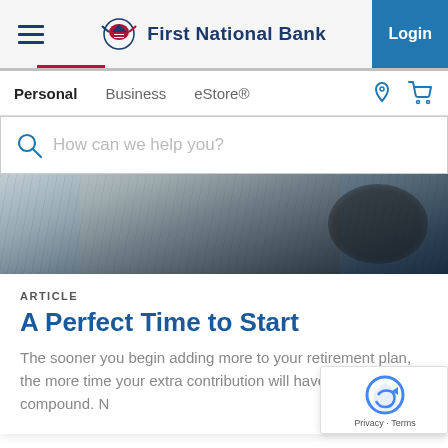First National Bank — Login
Personal   Business   eStore®
How can we help you?
[Figure (photo): Black and white photo of people outdoors, hands visible, one person petting a dog]
ARTICLE
A Perfect Time to Start
The sooner you begin adding more to your retirement plan, the more time your extra contribution will have to grow and compound. N
Notices & Disclosures
Insurance products are sold by First National Insurance Agency, LLC